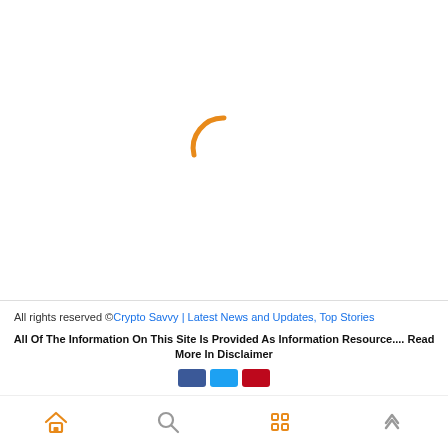[Figure (other): Orange loading spinner (partial circle arc) centered in white content area]
All rights reserved ©Crypto Savvy | Latest News and Updates, Top Stories
All Of The Information On This Site Is Provided As Information Resource.... Read More In Disclaimer
[Figure (other): Social share icons: Facebook (blue), Twitter (blue), Pinterest (red)]
[Figure (other): Bottom navigation bar with home icon, search icon, grid/apps icon, and up-arrow icon]